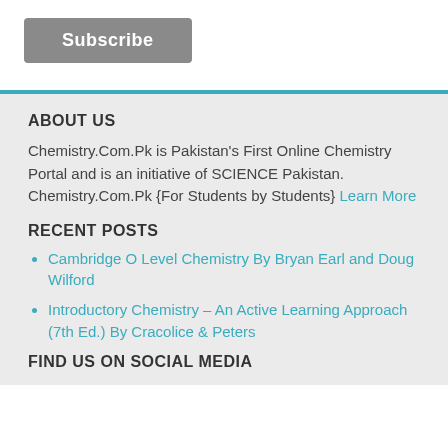[Figure (other): Subscribe button — grey rectangular button with white bold text 'Subscribe']
ABOUT US
Chemistry.Com.Pk is Pakistan's First Online Chemistry Portal and is an initiative of SCIENCE Pakistan. Chemistry.Com.Pk {For Students by Students} Learn More
RECENT POSTS
Cambridge O Level Chemistry By Bryan Earl and Doug Wilford
Introductory Chemistry – An Active Learning Approach (7th Ed.) By Cracolice & Peters
FIND US ON SOCIAL MEDIA